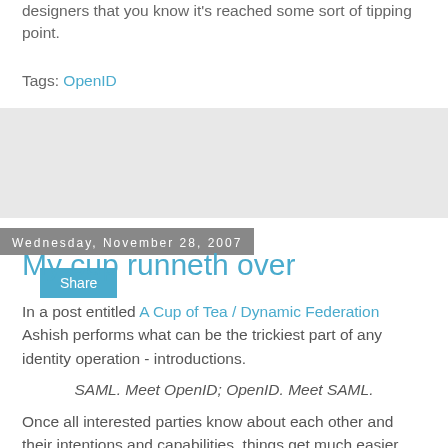designers that you know it's reached some sort of tipping point.
Tags: OpenID
4 comments:
Share
Wednesday, November 28, 2007
My cup runneth over
In a post entitled A Cup of Tea / Dynamic Federation Ashish performs what can be the trickiest part of any identity operation - introductions.
SAML. Meet OpenID; OpenID. Meet SAML.
Once all interested parties know about each other and their intentions and capabilities, things get much easier.